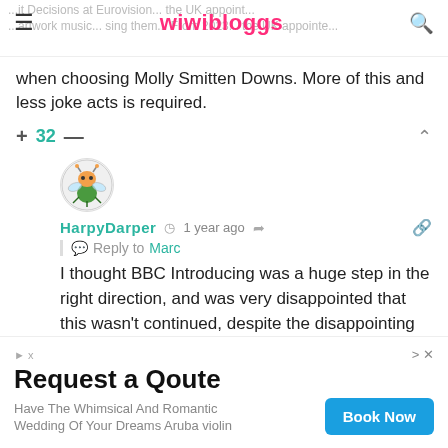wiwibloggs
when choosing Molly Smitten Downs. More of this and less joke acts is required.
+ 32 —
[Figure (illustration): User avatar for HarpyDarper — cartoon insect character in a circle]
HarpyDarper  1 year ago  Reply to Marc
I thought BBC Introducing was a huge step in the right direction, and was very disappointed that this wasn't continued, despite the disappointing result. It's an excellent resource of untapped talent hungry for a big opportunity, and the BBC should use this and promote Eurovision as a music
Request a Qoute
Have The Whimsical And Romantic Wedding Of Your Dreams Aruba violin
Book Now